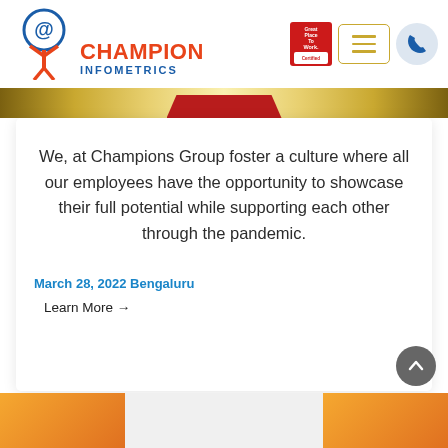[Figure (logo): Champion Infometrics logo with @ symbol icon, orange CHAMPION text, blue INFOMETRICS text]
[Figure (logo): Great Place To Work Certified badge in top right corner]
[Figure (other): Navigation menu button (hamburger) and phone icon button in header]
We, at Champions Group foster a culture where all our employees have the opportunity to showcase their full potential while supporting each other through the pandemic.
March 28, 2022 Bengaluru
Learn More →